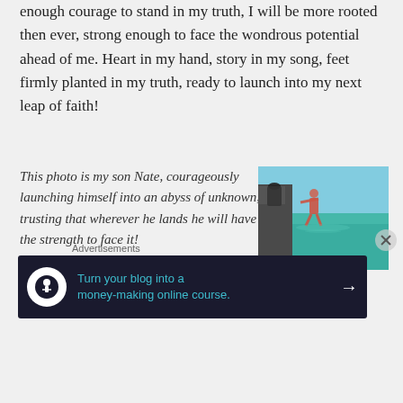enough courage to stand in my truth, I will be more rooted then ever, strong enough to face the wondrous potential ahead of me. Heart in my hand, story in my song, feet firmly planted in my truth, ready to launch into my next leap of faith!
This photo is my son Nate, courageously launching himself into an abyss of unknown, trusting that wherever he lands he will have the strength to face it!
[Figure (photo): Person jumping into the sea/ocean from a rocky ledge, blue sky and green-blue water visible]
Advertisements
[Figure (infographic): Dark advertisement banner: 'Turn your blog into a money-making online course.' with a tree/person icon and arrow]